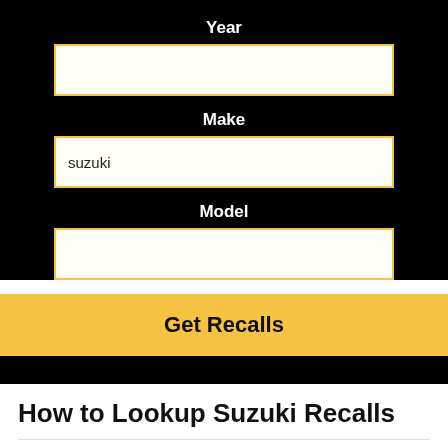Year
Make
suzuki
Model
Get Recalls
How to Lookup Suzuki Recalls
Use the VINvaquero.com free Suzuki recall lookup tool to find all active and past recalls for Suzuki models.